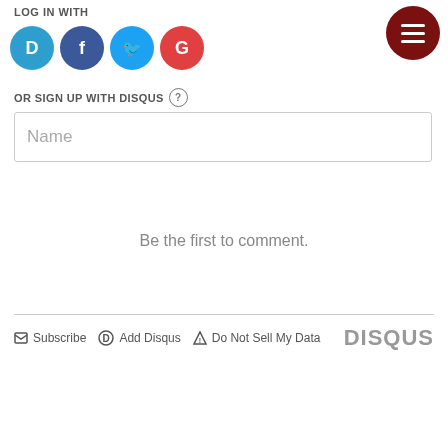LOG IN WITH
[Figure (other): Social login icons: Disqus (blue circle D), Facebook (dark blue circle f), Twitter (light blue circle bird), Google (red circle G)]
[Figure (other): Dark red menu button with three horizontal white lines (hamburger icon)]
OR SIGN UP WITH DISQUS (?)
Name
Be the first to comment.
Subscribe  Add Disqus  Do Not Sell My Data  DISQUS